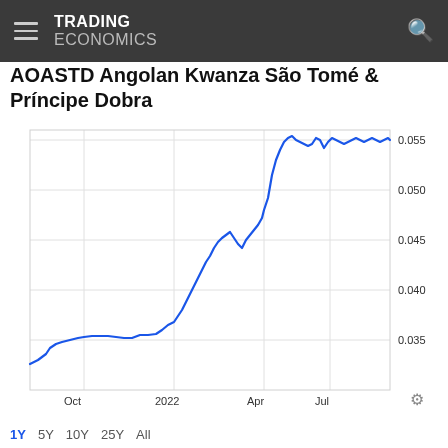TRADING ECONOMICS
AOASTD Angolan Kwanza São Tomé & Príncipe Dobra
[Figure (continuous-plot): Line chart showing AOASTD exchange rate from approximately August 2021 to July 2022. The line starts around 0.032-0.033, rises gradually through Oct 2021, shows a plateau near 0.035-0.036 through early 2022, then rises steeply from Jan 2022 through Apr 2022 reaching about 0.055-0.056, followed by slight volatility around 0.054-0.056 through July 2022.]
1Y 5Y 10Y 25Y All